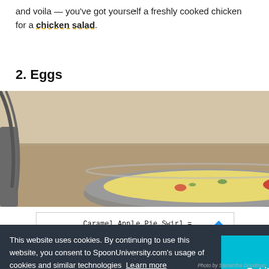and voila — you've got yourself a freshly cooked chicken for a chicken salad.
2. Eggs
[Figure (photo): A frying pan on a stove with eggs cooking, viewed from above at an angle. Pan contains yellow egg mixture with red tomato pieces.]
[Figure (screenshot): Advertisement banner for sweetFrog: 'Caramel Apple Pie Swirl = Yum' with sweetFrog branding and a blue diamond arrow icon.]
This website uses cookies. By continuing to use this website, you consent to SpoonUniversity.com's usage of cookies and similar technologies  Learn more
[Figure (photo): Partial photo showing kitchen utensil or pan handle, bottom right corner of page. Photo by Samantha Goodman.]
Photo by Samantha Goodman